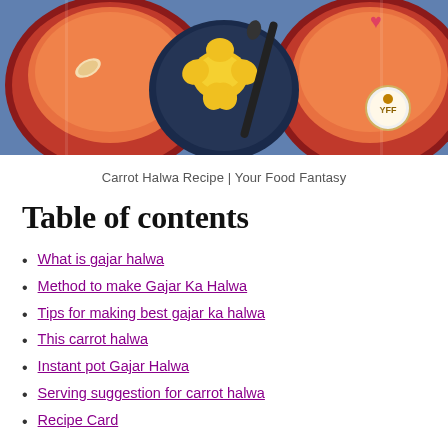[Figure (photo): Photo of carrot halwa (gajar halwa) served on dark red plates with cashew nuts and a yellow flower, on a blue background, with a YFF logo badge]
Carrot Halwa Recipe | Your Food Fantasy
Table of contents
What is gajar halwa
Method to make Gajar Ka Halwa
Tips for making best gajar ka halwa
This carrot halwa
Instant pot Gajar Halwa
Serving suggestion for carrot halwa
Recipe Card